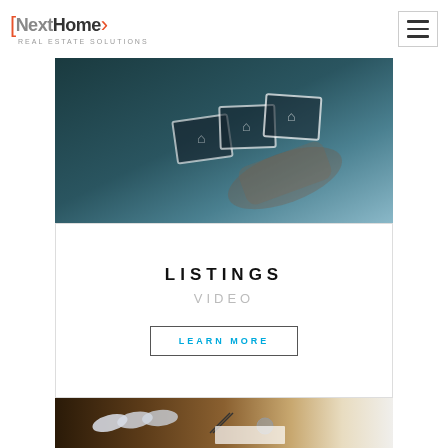NextHome REAL ESTATE SOLUTIONS
[Figure (photo): Hand holding translucent digital cards with home icons against a dark teal/blue background]
LISTINGS
VIDEO
LEARN MORE
[Figure (photo): Rolled blueprints, scissors, compass, tape and drafting tools on a wooden desk]